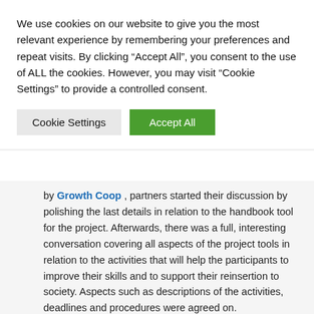We use cookies on our website to give you the most relevant experience by remembering your preferences and repeat visits. By clicking “Accept All”, you consent to the use of ALL the cookies. However, you may visit “Cookie Settings” to provide a controlled consent.
Cookie Settings | Accept All
by Growth Coop , partners started their discussion by polishing the last details in relation to the handbook tool for the project. Afterwards, there was a full, interesting conversation covering all aspects of the project tools in relation to the activities that will help the participants to improve their skills and to support their reinsertion to society. Aspects such as descriptions of the activities, deadlines and procedures were agreed on.
On the second day of the meeting, participatory workshop was the main activity